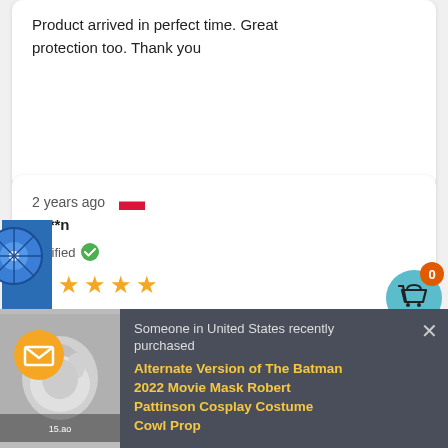Product arrived in perfect time. Great protection too. Thank you
2 years ago
K***n
Verified
Product arrived in full, good
[Figure (screenshot): E-commerce purchase notification popup: 'Someone in United States recently purchased Alternate Version of The Batman 2022 Movie Mask Robert Pattinson Cosplay Costume Cowl Prop' with product thumbnail image on the left.]
[Figure (illustration): Spin to win widget on the left side of the page, blue circular spinner with ribbon label 'Spin to win'.]
[Figure (illustration): Shopping cart icon button in teal circle with orange badge showing 0, top right corner.]